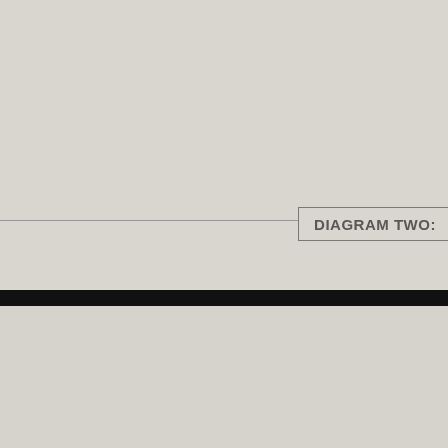DIAGRAM TWO:
[Figure (other): Page divider with thin horizontal line and a bordered label box reading 'DIAGRAM TWO:', followed by a thick black horizontal bar dividing the page into upper and lower sections.]